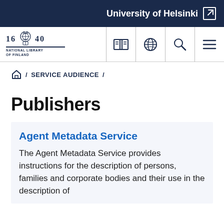University of Helsinki
[Figure (logo): National Library of Finland logo with 1640 founding year and emblem, alongside navigation icons: catalogue, globe, search, and menu]
/ SERVICE AUDIENCE /
Publishers
Agent Metadata Service
The Agent Metadata Service provides instructions for the description of persons, families and corporate bodies and their use in the description of